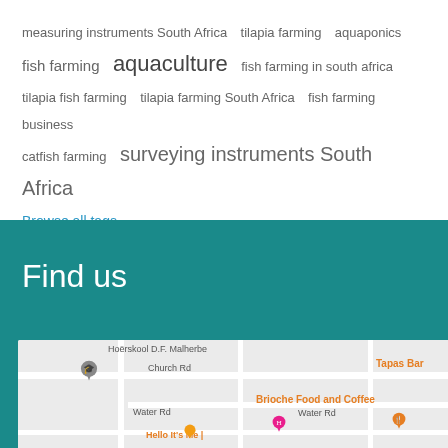measuring instruments South Africa  tilapia farming  aquaponics  fish farming  aquaculture  fish farming in south africa  tilapia fish farming  tilapia farming South Africa  fish farming business  catfish farming  surveying instruments South Africa
Browse all tags
Find us
[Figure (map): Google Maps snippet showing streets near Hoërskool D.F. Malherbe, Church Rd, Water Rd. Markers for Tapas Bar, Brioche Food and Coffee, Hello It's Me, and a hotel/accommodation. Gray and white street grid on light background.]